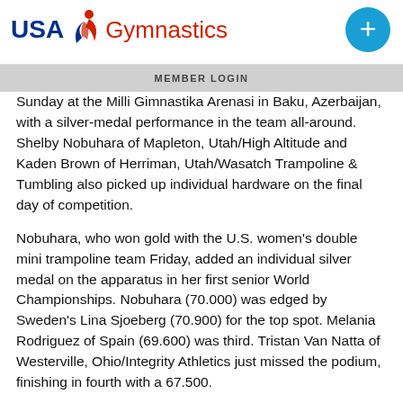USA Gymnastics
MEMBER LOGIN
Sunday at the Milli Gimnastika Arenasi in Baku, Azerbaijan, with a silver-medal performance in the team all-around. Shelby Nobuhara of Mapleton, Utah/High Altitude and Kaden Brown of Herriman, Utah/Wasatch Trampoline & Tumbling also picked up individual hardware on the final day of competition.
Nobuhara, who won gold with the U.S. women's double mini trampoline team Friday, added an individual silver medal on the apparatus in her first senior World Championships. Nobuhara (70.000) was edged by Sweden's Lina Sjoeberg (70.900) for the top spot. Melania Rodriguez of Spain (69.600) was third. Tristan Van Natta of Westerville, Ohio/Integrity Athletics just missed the podium, finishing in fourth with a 67.500.
Brown took bronze in men's individual tumbling for the second-consecutive World Championships. The 20-year-old posted a 75.400 across two passes. The Russian Gymnastics Federation's Aleksei Ushakov led with an 89.000...